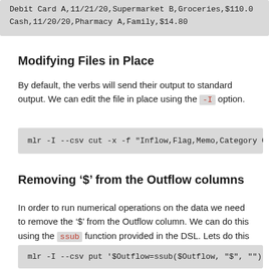[Figure (screenshot): Code block showing CSV data: 'Debit Card A,11/21/20,Supermarket B,Groceries,$110.0' and 'Cash,11/20/20,Pharmacy A,Family,$14.80']
Modifying Files in Place
By default, the verbs will send their output to standard output. We can edit the file in place using the -I option.
[Figure (screenshot): Code block: mlr -I --csv cut -x -f "Inflow,Flag,Memo,Category Gr]
Removing '$' from the Outflow columns
In order to run numerical operations on the data we need to remove the '$' from the Outflow column. We can do this using the ssub function provided in the DSL. Lets do this in-place as well:
[Figure (screenshot): Code block: mlr -I --csv put '$Outflow=ssub($Outflow, "$", "");]